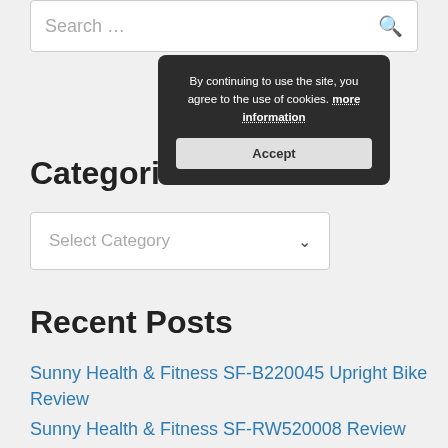Search …
[Figure (screenshot): Cookie consent overlay with dark background: 'By continuing to use the site, you agree to the use of cookies. more information' and an Accept button.]
Categories
Select Category
Recent Posts
Sunny Health & Fitness SF-B220045 Upright Bike Review
Sunny Health & Fitness SF-RW520008 Review
GOYOUTH 2-in-1 Under-Desk Treadmill Review